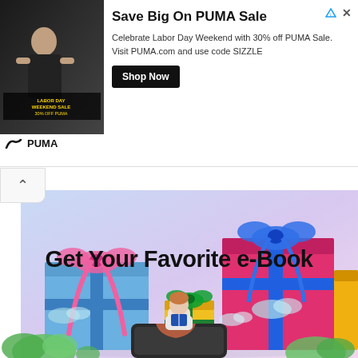[Figure (infographic): PUMA advertisement banner with Labor Day Weekend Sale image on the left, PUMA logo, headline 'Save Big On PUMA Sale', body text 'Celebrate Labor Day Weekend with 30% off PUMA Sale. Visit PUMA.com and use code SIZZLE', and a 'Shop Now' button. Icons for ad disclosure (triangle) and close (X) in top right.]
[Figure (illustration): Colorful wrapped gift boxes illustration on a light purple/blue gradient background. Multiple boxes in blue, pink, magenta, and yellow with ribbons and bows. A small upward-pointing chevron collapse button is visible at the top left.]
Get Your Favorite e-Book
[Figure (illustration): Illustration of a person sitting cross-legged on a large smartphone, reading a book. Green plants and light blue clouds in the background.]